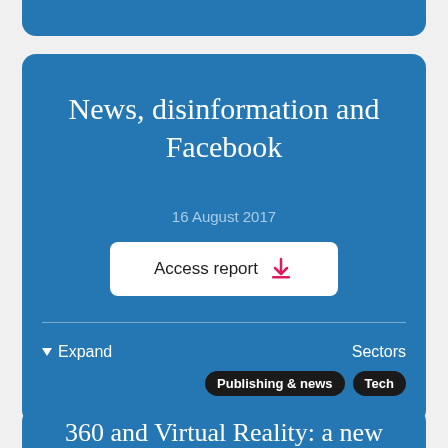News, disinformation and Facebook
16 August 2017
Access report
Expand
Sectors
Publishing & news
Tech
360 and Virtual Reality: a new